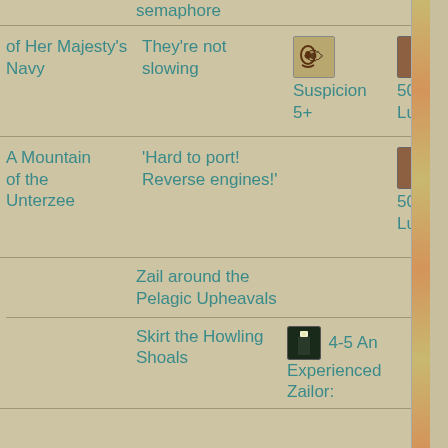semaphore (partial, top)
of Her Majesty's Navy
They're not slowing
Suspicion 5+
50% Luck
A Mountain of the Unterzee
'Hard to port! Reverse engines!'
50% Luck
Zail around the Pelagic Upheavals
Skirt the Howling Shoals
4-5 An Experienced Zailor: